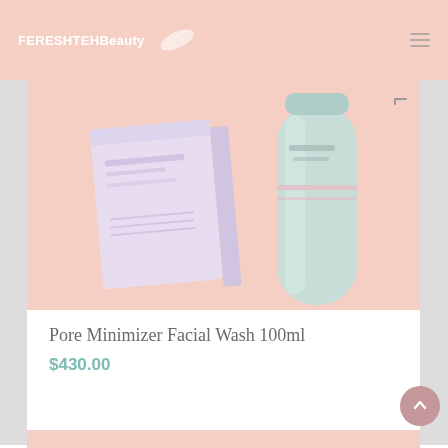FERESHTEHBeauty
[Figure (photo): Product photo showing a light pink/lavender box and a mint green tube of Pore Minimizer Facial Wash on a pink background]
Pore Minimizer Facial Wash 100ml
$430.00